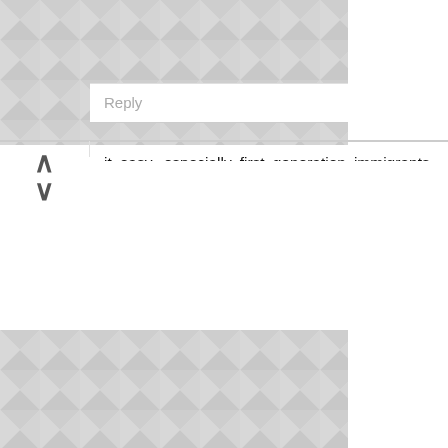[Figure (illustration): Geometric triangular pattern background at top of page]
it easy, especially first generation immigrants, no we dont. As some have said sometimes they have advice to cut off or avoid friends and so on. It shouldn't be so but some people have been hurt and even killed by giving out so much information to even friends, so most people become wary once abroad. I have a friend that always complained of her friends abroad when she was in Nigeria, understandably so cos she felt left behind. Today she is abroad and some friends back home are complaining about her as well. But she is not even thinking about them, she is thinking of how to get her papers. I don't know your friend's situation but maybe pray for her and let it go.
Reply
[Figure (illustration): Geometric triangular pattern background at bottom of page]